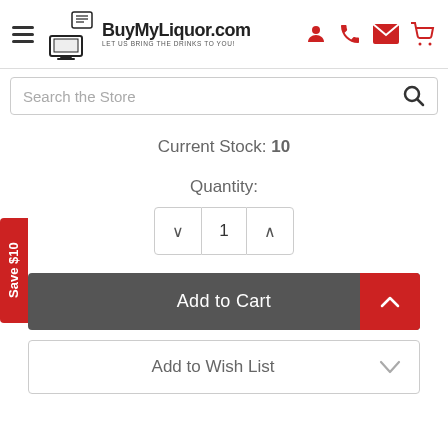BuyMyLiquor.com — LET US BRING THE DRINKS TO YOU!
Search the Store
Save $10
Current Stock: 10
Quantity:
1
Add to Cart
Add to Wish List